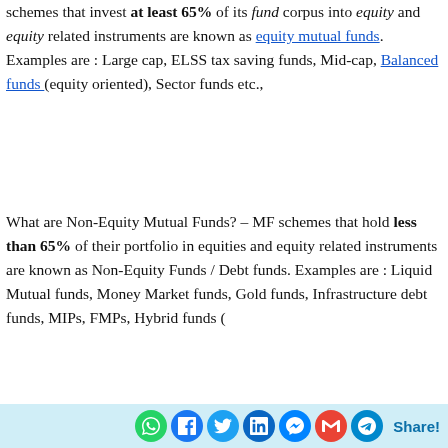schemes that invest at least 65% of its fund corpus into equity and equity related instruments are known as equity mutual funds. Examples are : Large cap, ELSS tax saving funds, Mid-cap, Balanced funds (equity oriented), Sector funds etc.,
What are Non-Equity Mutual Funds? – MF schemes that hold less than 65% of their portfolio in equities and equity related instruments are known as Non-Equity Funds / Debt funds. Examples are : Liquid Mutual funds, Money Market funds, Gold funds, Infrastructure debt funds, MIPs, FMPs, Hybrid funds (